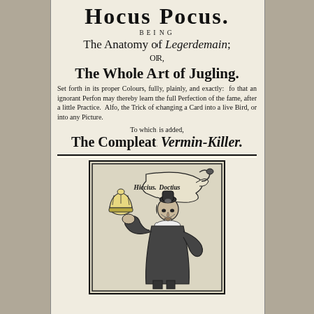Hocus Pocus.
BEING
The Anatomy of Legerdemain;
OR,
The Whole Art of Jugling.
Set forth in its proper Colours, fully, plainly, and exactly: so that an ignorant Person may thereby learn the full Perfection of the same, after a little Practice. Also, the Trick of changing a Card into a live Bird, or into any Picture.
To which is added,
The Compleat Vermin-Killer.
[Figure (illustration): Woodcut illustration of a juggler/magician in period costume holding up a crowned orb/dome in one hand, with a scroll or banner reading 'Hiccius. Doctius' above him, surrounded by a decorative border.]